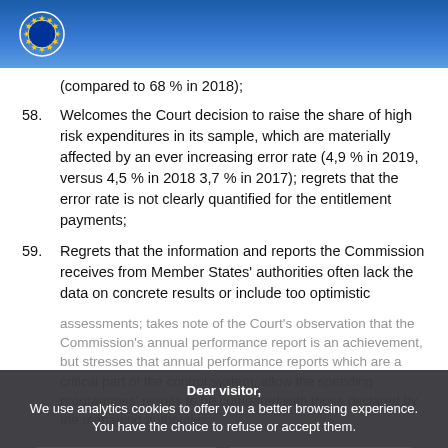European Parliament
(compared to 68 % in 2018);
58. Welcomes the Court decision to raise the share of high risk expenditures in its sample, which are materially affected by an ever increasing error rate (4,9 % in 2019, versus 4,5 % in 2018 3,7 % in 2017); regrets that the error rate is not clearly quantified for the entitlement payments;
59. Regrets that the information and reports the Commission receives from Member States' authorities often lack the data on concrete results or include too optimistic assessments; takes note of the Court's observation that the Commission's annual performance report is an achievement, but stresses that annual performance reports which are a critical part of the control system, allow the spending programmes' results to be compared with those declared by the managing authorities.
Dear visitor,
We use analytics cookies to offer you a better browsing experience. You have the choice to refuse or accept them.
I refuse analytics cookies | I accept analytics cookies
For any information on the other cookies and server logs we use, we invite you to read our data protection policy, our cookies policy and our cookies inventory.